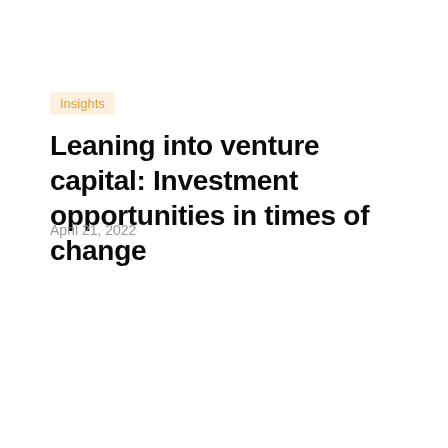Insights
Leaning into venture capital: Investment opportunities in times of change
April 21, 2022